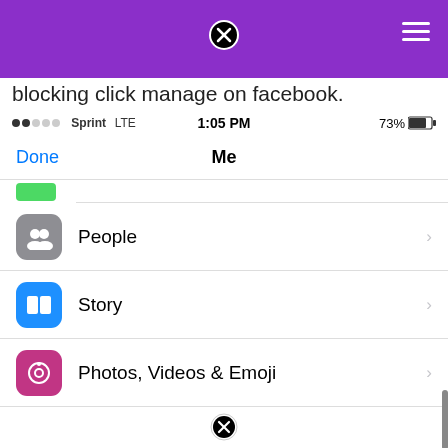[Figure (screenshot): Purple app header bar with close (X) button centered and hamburger menu on right]
blocking click manage on facebook.
●●○○○ Sprint  LTE    1:05 PM    73% battery
Done    Me
People
Story
Photos, Videos & Emoji
Secret Conversations
M
Translation